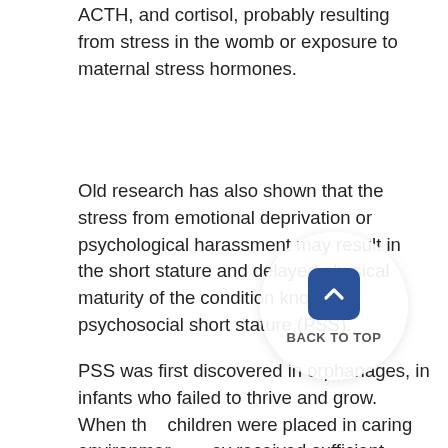ACTH, and cortisol, probably resulting from stress in the womb or exposure to maternal stress hormones.
Old research has also shown that the stress from emotional deprivation or psychological harassment may result in the short stature and delayed physical maturity of the condition known as psychosocial short stature (PSS).
PSS was first discovered in orphanages, in infants who failed to thrive and grow. When the children were placed in caring environments and they received sufficient attention, they recovered. The children's cortisol levels were surprisingly low, a seeming contradiction, which Coe investigated by studying a small, non-human primate, the common marmoset. These monkeys live in small family groups in which infants are